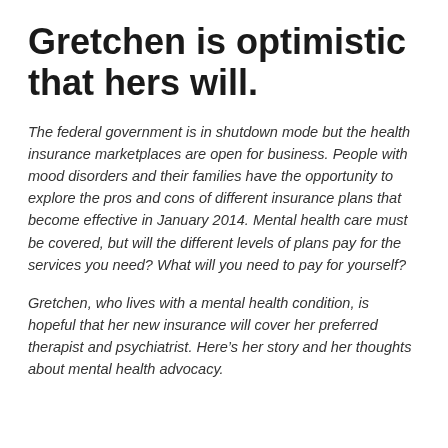Gretchen is optimistic that hers will.
The federal government is in shutdown mode but the health insurance marketplaces are open for business. People with mood disorders and their families have the opportunity to explore the pros and cons of different insurance plans that become effective in January 2014. Mental health care must be covered, but will the different levels of plans pay for the services you need? What will you need to pay for yourself?
Gretchen, who lives with a mental health condition, is hopeful that her new insurance will cover her preferred therapist and psychiatrist. Here’s her story and her thoughts about mental health advocacy.